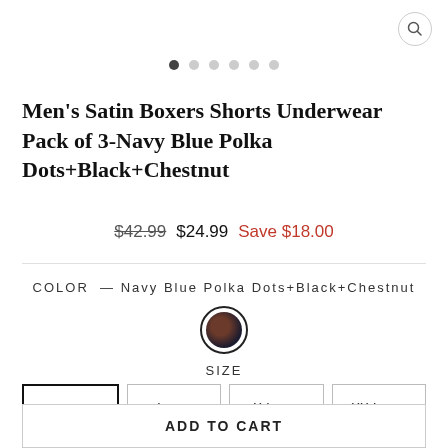[Figure (other): Carousel navigation dots with 6 dots, first one active/dark]
Men's Satin Boxers Shorts Underwear Pack of 3-Navy Blue Polka Dots+Black+Chestnut
$42.99  $24.99  Save $18.00
COLOR — Navy Blue Polka Dots+Black+Chestnut
[Figure (other): Color swatch circle showing Navy Blue Polka Dots+Black+Chestnut color combination with dark border ring]
SIZE
Medium  Large  X-Large  XX-Large
ADD TO CART